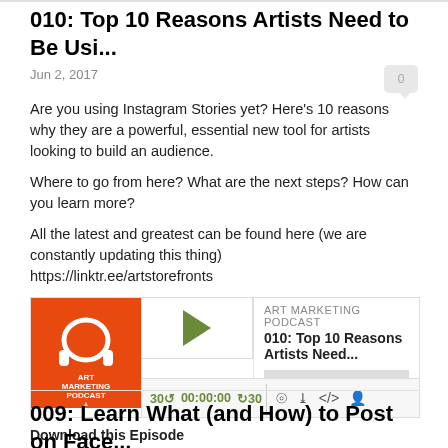010: Top 10 Reasons Artists Need to Be Usi...
Jun 2, 2017
Are you using Instagram Stories yet? Here’s 10 reasons why they are a powerful, essential new tool for artists looking to build an audience.
Where to go from here? What are the next steps? How can you learn more?
All the latest and greatest can be found here (we are constantly updating this thing)
https://linktr.ee/artstorefronts
[Figure (screenshot): Podcast player widget for Art Marketing Podcast episode 010: Top 10 Reasons Artists Need... with orange album art, play button, progress bar, and playback controls showing 30 backskip, 00:00:00, 30 skip, and icons for cast, download, embed, and subscribe.]
Download this Episode
009: Learn What (and How) to Post on Face...
May 23, 2017